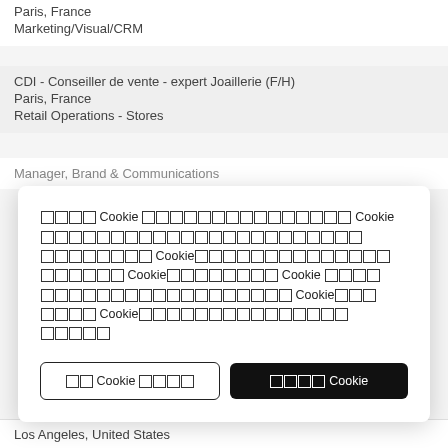Paris, France
Marketing/Visual/CRM
CDI - Conseiller de vente - expert Joaillerie (F/H)
Paris, France
Retail Operations - Stores
Manager, Brand & Communications (partial)
Cookie consent modal with squares representing CJK characters and two buttons: one outline (Cookie settings) and one filled (Accept Cookie)
Los Angeles, United States